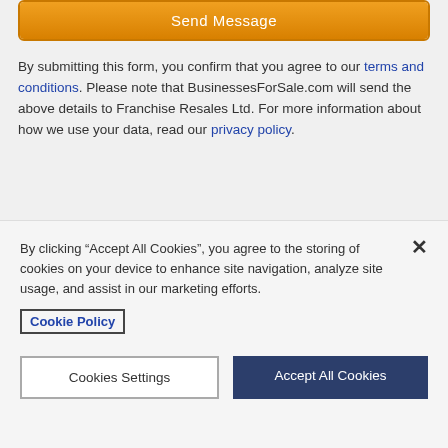[Figure (screenshot): Orange 'Send Message' button with border]
By submitting this form, you confirm that you agree to our terms and conditions. Please note that BusinessesForSale.com will send the above details to Franchise Resales Ltd. For more information about how we use your data, read our privacy policy.
By clicking “Accept All Cookies”, you agree to the storing of cookies on your device to enhance site navigation, analyze site usage, and assist in our marketing efforts.
Cookie Policy
Cookies Settings
Accept All Cookies